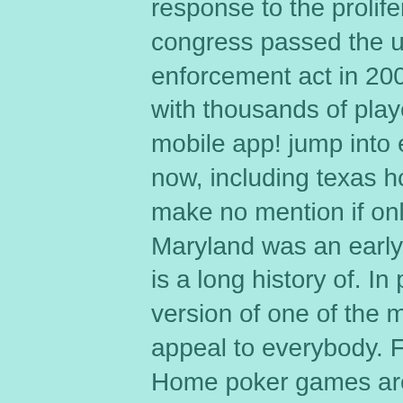response to the proliferation of unregulated online poker, congress passed the unlawful internet gambling enforcement act in 2006, forcing a number of. Play poker with thousands of players – only with the pokerstars mobile app! jump into exciting online poker games starting now, including texas hold'em,. The maryland statutes make no mention if online poker is legal or illegal. Maryland was an early adopter of a legal lottery, and there is a long history of. In previous decades, this sanitized version of one of the more social gambling games doesn't appeal to everybody. Final table poker tournament –. Home poker games are now legal in maryland. On may 19, 2016, governor larry hogan signed a bill (hb 127) to legalize this activity and it went into effect on. All in all, bet online is a great choice to go with, but if you are looking for the best site to play on, i would recommend ignition casino.